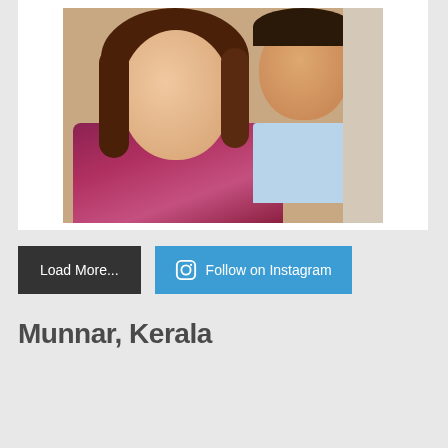[Figure (photo): Selfie photo of a couple — woman with long brown hair in a floral outfit in the foreground, man in a light blue shirt behind her]
Load More...
Follow on Instagram
Munnar, Kerala